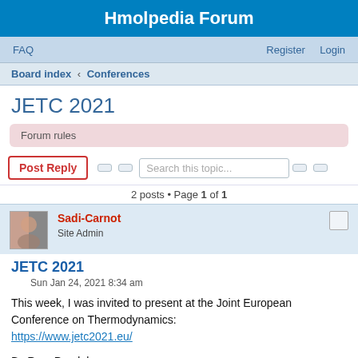Hmolpedia Forum
FAQ    Register    Login
Board index ‹ Conferences
JETC 2021
Forum rules
Post Reply    Search this topic...    2 posts • Page 1 of 1
Sadi-Carnot
Site Admin
JETC 2021
Sun Jan 24, 2021 8:34 am
This week, I was invited to present at the Joint European Conference on Thermodynamics:
https://www.jetc2021.eu/
By Ram Poudel:
https://hmolpedia.com/page/Ram_Poudel